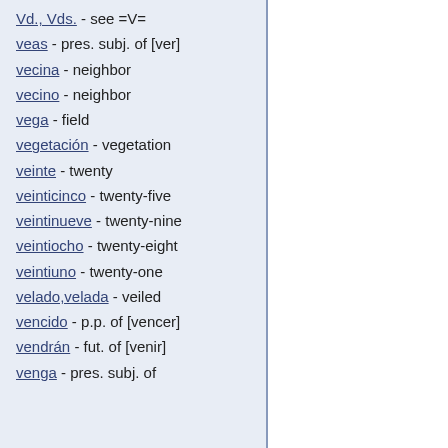Vd., Vds. - see =V=
veas - pres. subj. of [ver]
vecina - neighbor
vecino - neighbor
vega - field
vegetación - vegetation
veinte - twenty
veinticinco - twenty-five
veintinueve - twenty-nine
veintiocho - twenty-eight
veintiuno - twenty-one
velado,velada - veiled
vencido - p.p. of [vencer]
vendrán - fut. of [venir]
venga - pres. subj. of